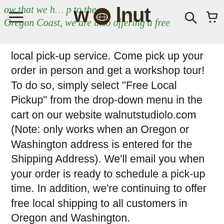walnut — w that we h p to the Oregon Coast, we are also offering a free
local pick-up service. Come pick up your order in person and get a workshop tour! To do so, simply select “Free Local Pickup” from the drop-down menu in the cart on our website walnutstudiolo.com (Note: only works when an Oregon or Washington address is entered for the Shipping Address). We’ll email you when your order is ready to schedule a pick-up time. In addition, we’re continuing to offer free local shipping to all customers in Oregon and Washington.
OLD POST:
Dear Northwest Customers,
The City of Portland has community resources and lists t...